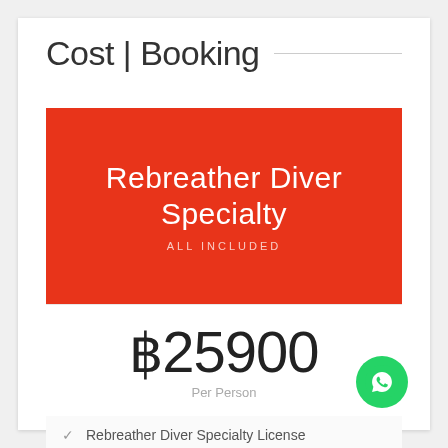Cost | Booking
Rebreather Diver Specialty
ALL INCLUDED
฿25900
Per Person
Rebreather Diver Specialty License
Rebreather Diver Specialty Manual